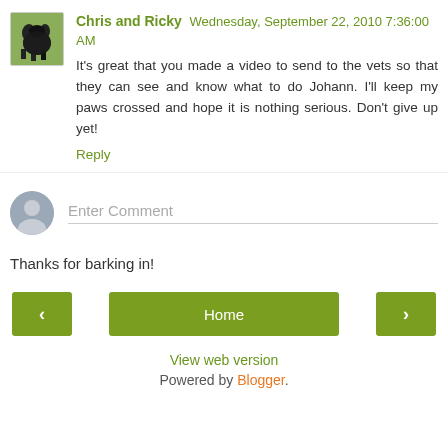[Figure (photo): Small avatar photo of a black and white dog running outdoors]
Chris and Ricky  Wednesday, September 22, 2010 7:36:00 AM
It's great that you made a video to send to the vets so that they can see and know what to do Johann. I'll keep my paws crossed and hope it is nothing serious. Don't give up yet!
Reply
[Figure (illustration): Default grey silhouette avatar icon for comment input]
Enter Comment
Thanks for barking in!
‹
Home
›
View web version
Powered by Blogger.